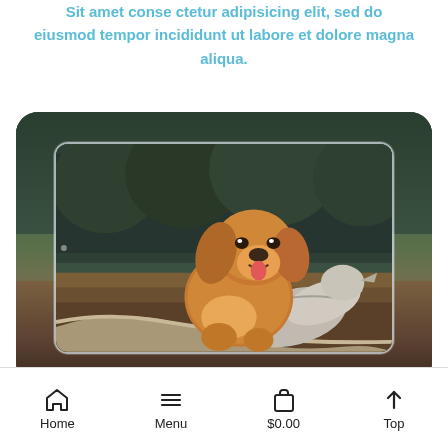Sit amet conse ctetur adipisicing elit, sed do eiusmod tempor incididunt ut labore et dolore magna aliqua.
[Figure (photo): A Nova Scotia Duck Tolling Retriever dog sitting on top of a duck/goose, displayed inside a smartphone screen frame, with a moody outdoor nature background of trees and grass.]
Home   Menu   $0.00   Top